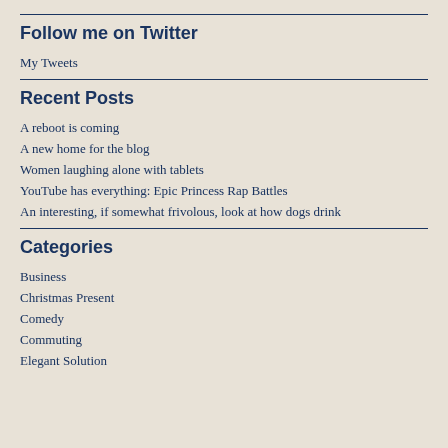Follow me on Twitter
My Tweets
Recent Posts
A reboot is coming
A new home for the blog
Women laughing alone with tablets
YouTube has everything: Epic Princess Rap Battles
An interesting, if somewhat frivolous, look at how dogs drink
Categories
Business
Christmas Present
Comedy
Commuting
Elegant Solution